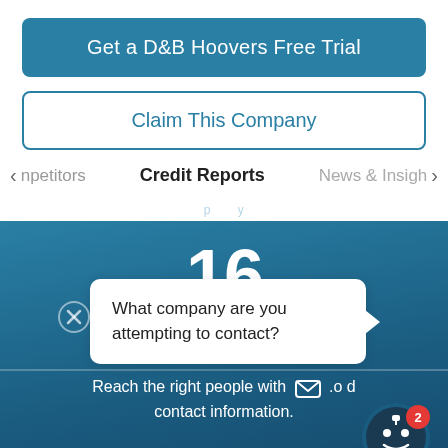Get a D&B Hoovers Free Trial
Claim This Company
< npetitors   Credit Reports   News & Insigh >
16
What company are you attempting to contact?
Contacts
Reach the right people with  .o d contact information.